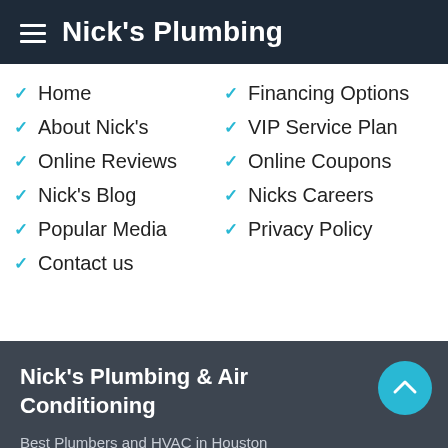Nick's Plumbing
Home
About Nick's
Online Reviews
Nick's Blog
Popular Media
Contact us
Financing Options
VIP Service Plan
Online Coupons
Nicks Careers
Privacy Policy
Nick's Plumbing & Air Conditioning
Best Plumbers and HVAC in Houston
Nick's has offered superior plumbing services to the Greater Houston Area since 1979. Located in The